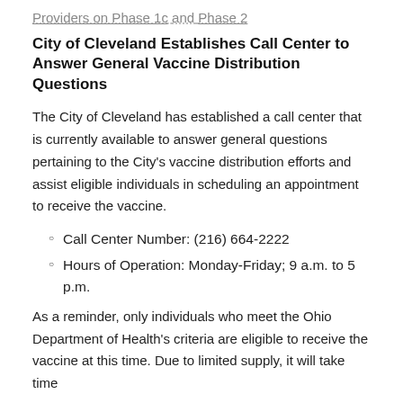Providers on Phase 1c and Phase 2
City of Cleveland Establishes Call Center to Answer General Vaccine Distribution Questions
The City of Cleveland has established a call center that is currently available to answer general questions pertaining to the City's vaccine distribution efforts and assist eligible individuals in scheduling an appointment to receive the vaccine.
Call Center Number: (216) 664-2222
Hours of Operation: Monday-Friday; 9 a.m. to 5 p.m.
As a reminder, only individuals who meet the Ohio Department of Health's criteria are eligible to receive the vaccine at this time. Due to limited supply, it will take time